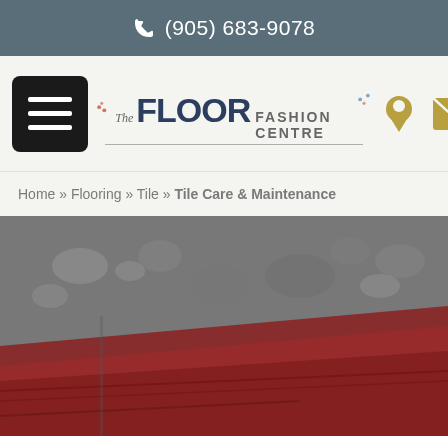(905) 683-9078
[Figure (logo): The Floor Fashion Centre logo with hamburger menu, location pin and email icons]
Home » Flooring » Tile » Tile Care & Maintenance
[Figure (photo): Close-up photo of red/terracotta tile flooring with water droplets and texture visible]